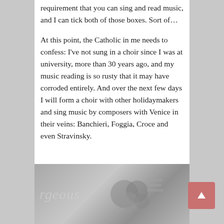requirement that you can sing and read music, and I can tick both of those boxes. Sort of…
At this point, the Catholic in me needs to confess: I've not sung in a choir since I was at university, more than 30 years ago, and my music reading is so rusty that it may have corroded entirely. And over the next few days I will form a choir with other holidaymakers and sing music by composers with Venice in their veins: Banchieri, Foggia, Croce and even Stravinsky.
[Figure (photo): Partial photo showing printed materials with decorative floral/botanical elements, partly visible text including 'gorgeous' on a light grey background]